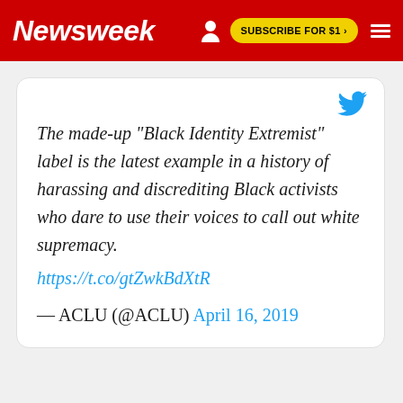Newsweek | SUBSCRIBE FOR $1 >
[Figure (screenshot): Embedded tweet from ACLU (@ACLU) dated April 16, 2019, with Twitter bird logo. Tweet text: The made-up “Black Identity Extremist” label is the latest example in a history of harassing and discrediting Black activists who dare to use their voices to call out white supremacy. https://t.co/gtZwkBdXtR — ACLU (@ACLU) April 16, 2019]